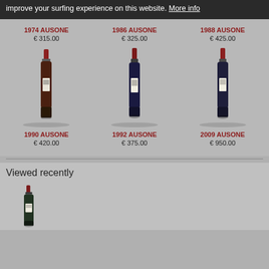improve your surfing experience on this website. More info
[Figure (photo): Wine bottle product image for 1974 AUSONE]
1974 AUSONE
€ 315.00
[Figure (photo): Wine bottle product image for 1986 AUSONE]
1986 AUSONE
€ 325.00
[Figure (photo): Wine bottle product image for 1988 AUSONE]
1988 AUSONE
€ 425.00
[Figure (photo): Wine bottle product image for 1990 AUSONE]
1990 AUSONE
€ 420.00
[Figure (photo): Wine bottle product image for 1992 AUSONE]
1992 AUSONE
€ 375.00
[Figure (photo): Wine bottle product image for 2009 AUSONE]
2009 AUSONE
€ 950.00
Viewed recently
[Figure (photo): Wine bottle recently viewed product image]